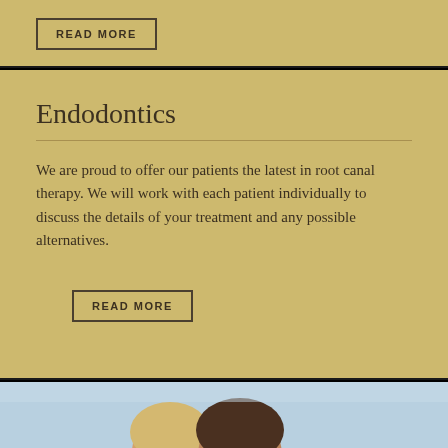READ MORE
Endodontics
We are proud to offer our patients the latest in root canal therapy. We will work with each patient individually to discuss the details of your treatment and any possible alternatives.
READ MORE
[Figure (photo): Photo of a couple, a woman with blonde hair and a man with dark hair, smiling outdoors against a light blue sky background.]